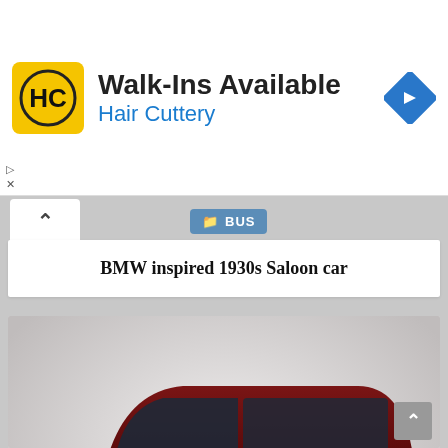[Figure (infographic): Hair Cuttery advertisement banner with yellow HC logo, bold text 'Walk-Ins Available' and blue subtitle 'Hair Cuttery', with a blue diamond navigation icon on the right]
BUS
BMW inspired 1930s Saloon car
[Figure (photo): 3D rendered image of a dark red/maroon retro-styled bus or large vehicle with chrome wheels, illuminated headlights, on a light gray background]